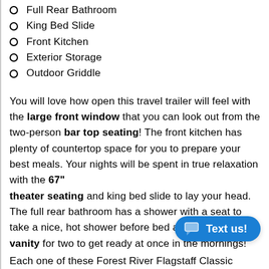Full Rear Bathroom
King Bed Slide
Front Kitchen
Exterior Storage
Outdoor Griddle
You will love how open this travel trailer will feel with the large front window that you can look out from the two-person bar top seating! The front kitchen has plenty of countertop space for you to prepare your best meals. Your nights will be spent in true relaxation with the 67" theater seating and king bed slide to lay your head. The full rear bathroom has a shower with a seat to take a nice, hot shower before bed and a dual-sink vanity for two to get ready at once in the mornings!
Each one of these Forest River Flagstaff Classic